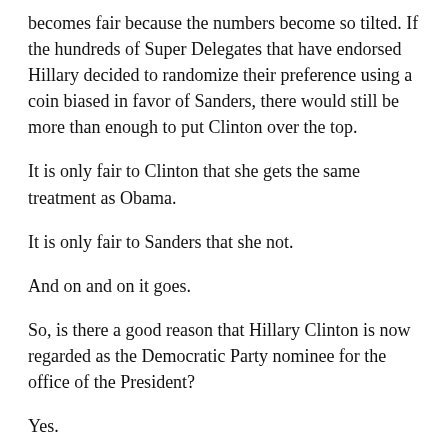becomes fair because the numbers become so tilted. If the hundreds of Super Delegates that have endorsed Hillary decided to randomize their preference using a coin biased in favor of Sanders, there would still be more than enough to put Clinton over the top.
It is only fair to Clinton that she gets the same treatment as Obama.
It is only fair to Sanders that she not.
And on and on it goes.
So, is there a good reason that Hillary Clinton is now regarded as the Democratic Party nominee for the office of the President?
Yes.